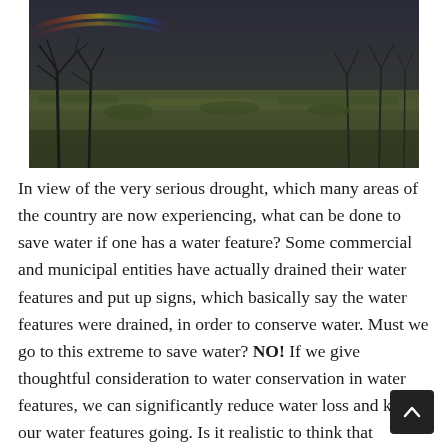[Figure (photo): Outdoor landscape photo showing bare-branched trees and scrubby green grass on a hillside, with a dark overcast sky and a hint of rainbow in the upper left corner.]
In view of the very serious drought, which many areas of the country are now experiencing, what can be done to save water if one has a water feature? Some commercial and municipal entities have actually drained their water features and put up signs, which basically say the water features were drained, in order to conserve water. Must we go to this extreme to save water? NO! If we give thoughtful consideration to water conservation in water features, we can significantly reduce water loss and keep our water features going. Is it realistic to think that everyone will drain his or her water features? NO. So we must